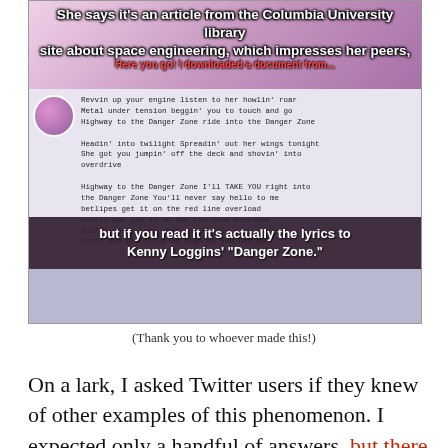[Figure (screenshot): Anime meme image showing a character with overlaid text describing a fake space engineering article from Columbia University library that is actually the lyrics to Kenny Loggins' Danger Zone]
(Thank you to whoever made this!)
On a lark, I asked Twitter users if they knew of other examples of this phenomenon. I expected only a handful of answers, but there were so